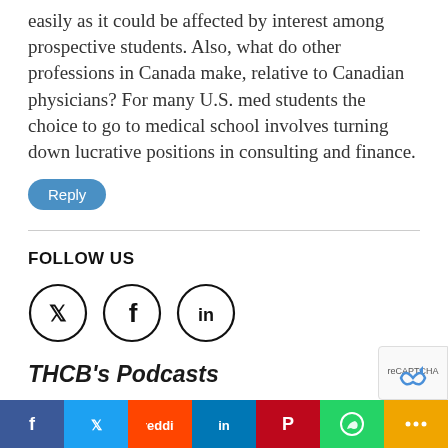easily as it could be affected by interest among prospective students. Also, what do other professions in Canada make, relative to Canadian physicians? For many U.S. med students the choice to go to medical school involves turning down lucrative positions in consulting and finance.
Reply
FOLLOW US
[Figure (illustration): Three circular social media icons: Twitter (bird), Facebook (f), LinkedIn (in)]
THCB's Podcasts
[Figure (infographic): Bottom share bar with 7 colored buttons: Facebook (blue), Twitter (light blue), Reddit (orange-red), LinkedIn (blue), Pinterest (red), WhatsApp (green), More (orange)]